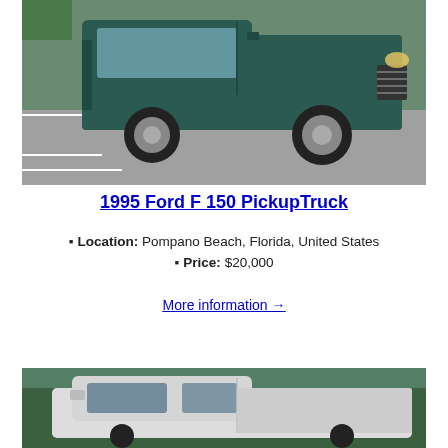[Figure (photo): Dark green 1995 Ford F-150 pickup truck parked in a parking lot, photographed from front-left angle]
1995 Ford F 150 PickupTruck
Location: Pompano Beach, Florida, United States
Price: $20,000
More information →
[Figure (photo): White pickup truck photographed from the side, with trees in the background]